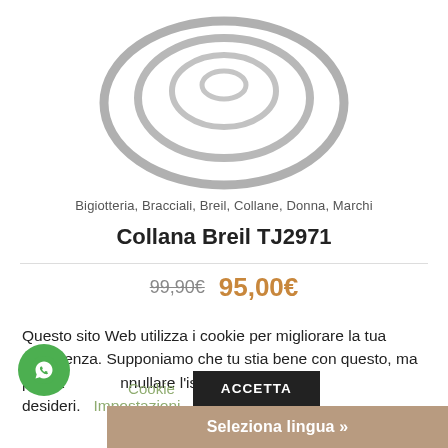[Figure (photo): Silver necklace/chain product photo on white background showing elliptical chain rings]
Bigiotteria, Bracciali, Breil, Collane, Donna, Marchi
Collana Breil TJ2971
99,90€  95,00€
Questo sito Web utilizza i cookie per migliorare la tua esperienza. Supponiamo che tu stia bene con questo, ma puoi annullare l'iscrizione se lo desideri. Impostazioni
Cookie  ACCETTA
Seleziona lingua »